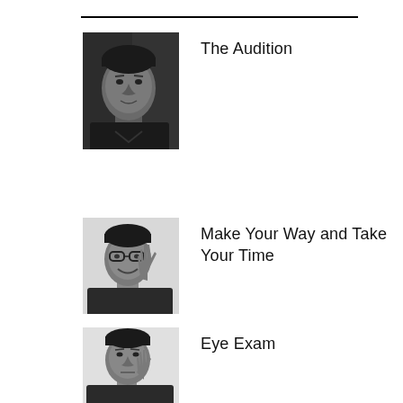[Figure (photo): Black and white portrait photo of a young man looking at camera, dark clothing, dark background]
The Audition
[Figure (photo): Black and white photo of a man wearing glasses, smiling, hand raised near face]
Make Your Way and Take Your Time
[Figure (photo): Black and white photo of a man in dark shirt with hand raised]
Eye Exam